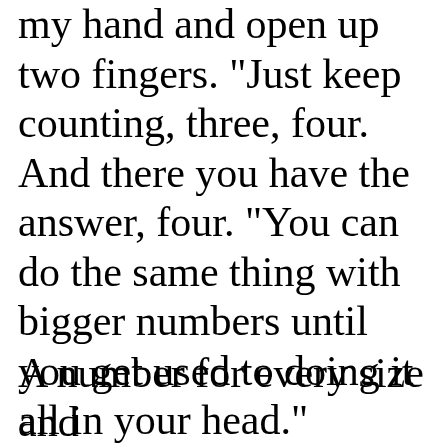my hand and open up two fingers. "Just keep counting, three, four. And there you have the answer, four. "You can do the same thing with bigger numbers until you get used to doing it all in your head."
A number for every size and